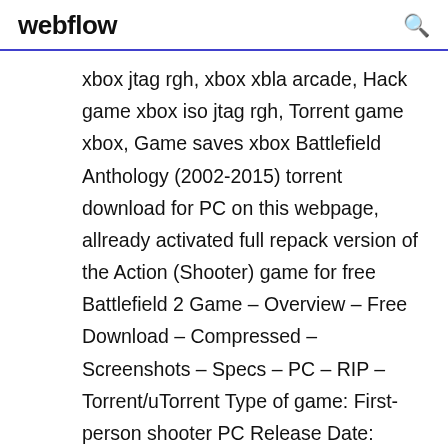webflow
xbox jtag rgh, xbox xbla arcade, Hack game xbox iso jtag rgh, Torrent game xbox, Game saves xbox Battlefield Anthology (2002-2015) torrent download for PC on this webpage, allready activated full repack version of the Action (Shooter) game for free Battlefield 2 Game – Overview – Free Download – Compressed – Screenshots – Specs – PC – RIP – Torrent/uTorrent Type of game: First-person shooter PC Release Date: June 21, 2005 Developer: Digital Illusions CE, EA Games Battlefield 2 (Size… Battlefield 3 Game – Overview – Free Download – Compressed – Screenshots – PC – RIP – Specs – Torrent/uTorrent Type of game: First-person